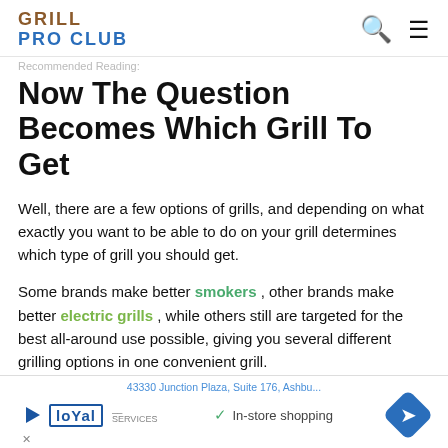GRILL PRO CLUB
Recommended Reading:
Now The Question Becomes Which Grill To Get
Well, there are a few options of grills, and depending on what exactly you want to be able to do on your grill determines which type of grill you should get.
Some brands make better smokers, other brands make better electric grills, while others still are targeted for the best all-around use possible, giving you several different grilling options in one convenient grill.
Today we will focus on the latter. With that in mind, it is my
[Figure (screenshot): Ad banner showing address '43330 Junction Plaza, Suite 176, Ashbu', Loyal logo with play button, In-store shopping checkmark, and blue navigation arrow icon]